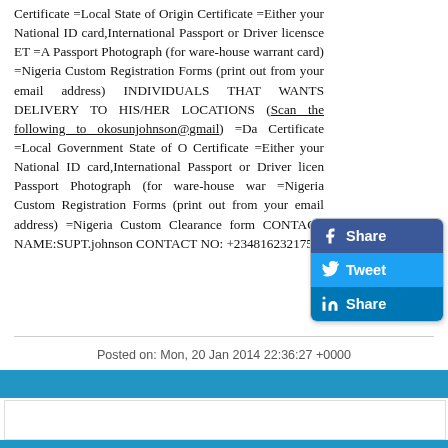Certificate =Local State of Origin Certificate =Either your National ID card,International Passport or Driver licensce ET =A Passport Photograph (for ware-house warrant card) =Nigeria Custom Registration Forms (print out from your email address) INDIVIDUALS THAT WANTS DELIVERY TO HIS/HER LOCATIONS (Scan the following to okosunjohnson@gmail) =Da Certificate =Local Government State of O Certificate =Either your National ID card,International Passport or Driver licen Passport Photograph (for ware-house war =Nigeria Custom Registration Forms (print out from your email address) =Nigeria Custom Clearance form CONTACT NAME:SUPT.johnson CONTACT NO: +2348162321751
[Figure (infographic): Social sharing buttons: Facebook Share (blue), Twitter Tweet (blue), LinkedIn Share (dark blue)]
Posted on: Mon, 20 Jan 2014 22:36:27 +0000